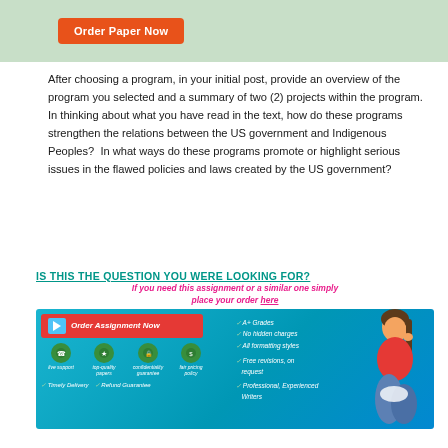[Figure (other): Green bar with orange Order Paper Now button]
After choosing a program, in your initial post, provide an overview of the program you selected and a summary of two (2) projects within the program.  In thinking about what you have read in the text, how do these programs strengthen the relations between the US government and Indigenous Peoples?  In what ways do these programs promote or highlight serious issues in the flawed policies and laws created by the US government?
[Figure (infographic): Promotional banner: IS THIS THE QUESTION YOU WERE LOOKING FOR? with Order Assignment Now button, features list (A+ Grades, No hidden charges, All formatting styles, Free revisions on request, Timely Delivery, Refund Guarantee, Professional Experienced Writers), icons for live support, top-quality papers, confidentiality guarantee, fair pricing policy, and a woman sitting thinking.]